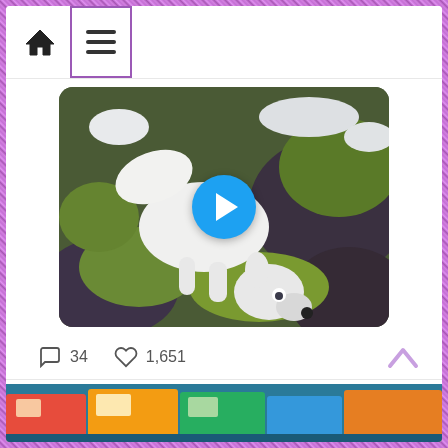[Figure (screenshot): Mobile Twitter/social media app screenshot with navigation bar at top (home icon and hamburger menu icon), a video thumbnail of a white arctic fox on mossy rocks with a blue play button overlay, action row showing 34 comments and 1,651 likes, and a second tweet from 'Charisse Van...' @CharisseV... dated Aug 31 saying 'Florida', with a partial image at the bottom]
34
1,651
Charisse Van... @CharisseV... · Aug 31
Florida